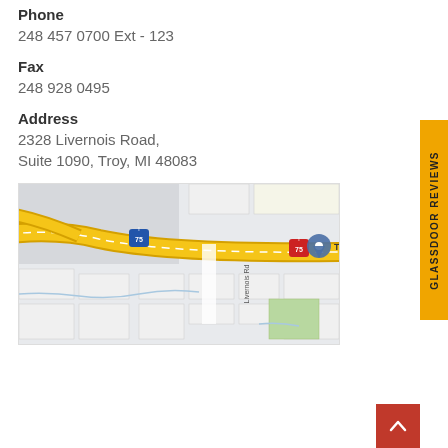Phone
248 457 0700 Ext - 123
Fax
248 928 0495
Address
2328 Livernois Road,
Suite 1090, Troy, MI 48083
[Figure (map): Google Maps view showing the location near 2328 Livernois Road, Troy, MI 48083, with I-75 highway passing through, a location pin marker, and Livernois Rd labeled vertically.]